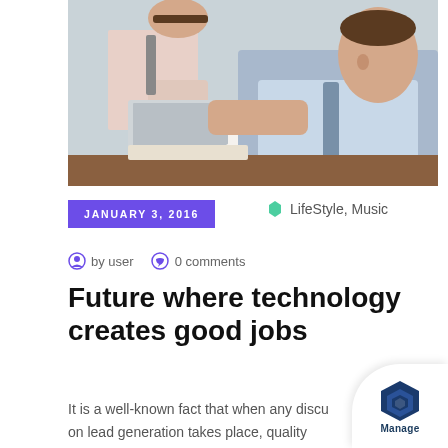[Figure (photo): Two businessmen in shirts and ties looking at a laptop on a desk, with a coffee cup nearby, in an office setting.]
JANUARY 3, 2016
LifeStyle, Music
by user   0 comments
Future where technology creates good jobs
It is a well-known fact that when any discu on lead generation takes place, quality
[Figure (logo): Manage logo badge with hexagon icon in bottom right corner]